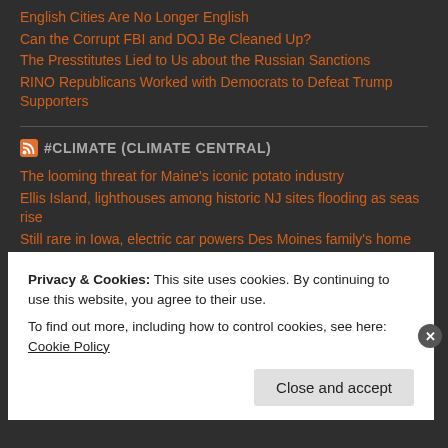English Cities Are No Longer English
Can the Corrupt FBI and DOJ Be Cleaned Up?
The Presstitutes Lied to Us about the Russian Sanctions
RINO Republicans Worked with Democrats to Defeat Trump Supporters
#CLIMATE (CLIMATE CENTRAL)
The looming threat for Maine's iconic potato industry
Ellis Island, lighthouses among historic NJ sites flooding as seas rise
Still rare in Iowa, electric car powers Des Moines family's home during blackouts
Storied Maine ski resort bets future on reining in high costs of warmer winters
Privacy & Cookies: This site uses cookies. By continuing to use this website, you agree to their use.
To find out more, including how to control cookies, see here: Cookie Policy